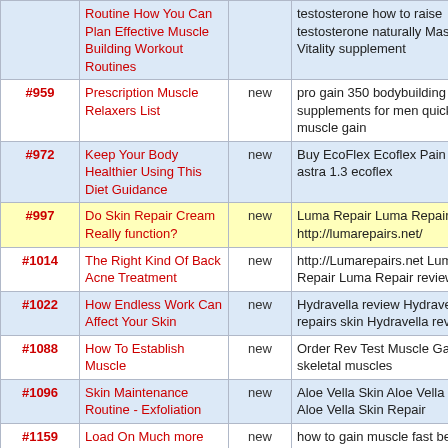| # | Title | Status | Keywords |
| --- | --- | --- | --- |
|  | Routine How You Can Plan Effective Muscle Building Workout Routines | new | testosterone how to raise testosterone naturally Massive Vitality supplement |
| #959 | Prescription Muscle Relaxers List | new | pro gain 350 bodybuilding supplements for men quick muscle gain |
| #972 | Keep Your Body Healthier Using This Diet Guidance | new | Buy EcoFlex Ecoflex Pain Relief astra 1.3 ecoflex |
| #997 | Do Skin Repair Cream Really function? | new | Luma Repair Luma Repair http://lumarepairs.net/ |
| #1014 | The Right Kind Of Back Acne Treatment | new | http://Lumarepairs.net Luma Repair Luma Repair reviews |
| #1022 | How Endless Work Can Affect Your Skin | new | Hydravella review Hydravella repairs skin Hydravella review |
| #1088 | How To Establish Muscle | new | Order Rev Test Muscle Gain skeletal muscles |
| #1096 | Skin Maintenance Routine - Exfoliation | new | Aloe Vella Skin Aloe Vella Skin Aloe Vella Skin Repair |
| #1159 | Load On Much more Muscle mass With One Of These Basics | new | how to gain muscle fast best weight gainer musclepros.net |